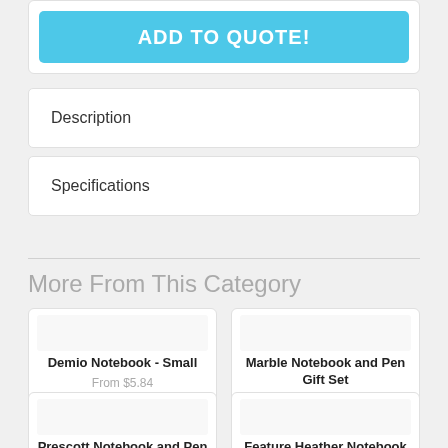[Figure (screenshot): Cyan 'ADD TO QUOTE!' button inside a white rounded card]
Description
Specifications
More From This Category
Demio Notebook - Small
From $5.84
Marble Notebook and Pen Gift Set
From $15.38
Prescott Notebook and Pen Gift Set
Feature Heather Notebook